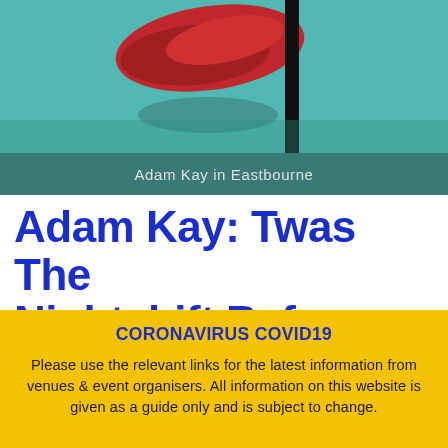[Figure (photo): Photo of Adam Kay performing in Eastbourne, with a red object visible against a teal/turquoise background and a dark vertical bar on the right side.]
Adam Kay in Eastbourne
Adam Kay: Twas The Nightshift Before Chris...
CORONAVIRUS COVID19
Please use the relevant links for the latest information from venues & event organisers. All information on this website is given as a guide only and is subject to change.